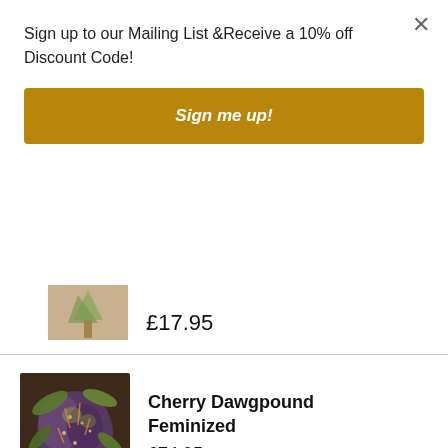Sign up to our Mailing List &Receive a 10% off Discount Code!
Sign me up!
£17.95
Cherry Dawgpound Feminized
£74.95
NEED HELP? MAIL US